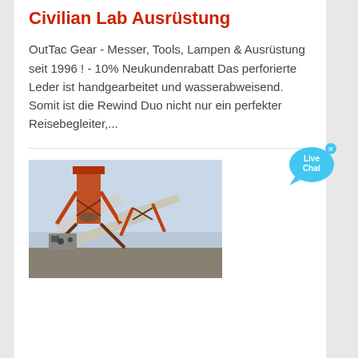Civilian Lab Ausrüstung
OutTac Gear - Messer, Tools, Lampen & Ausrüstung seit 1996 ! - 10% Neukundenrabatt Das perforierte Leder ist handgearbeitet und wasserabweisend. Somit ist die Rewind Duo nicht nur ein perfekter Reisebegleiter,...
[Figure (photo): Industrial conveyor belt structure with orange metal framework against a light blue sky, showing machinery and equipment on a large industrial site.]